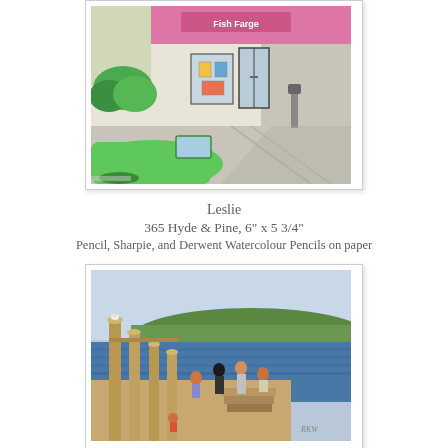[Figure (illustration): Cropped top portion of a colored pencil drawing showing a street scene with a green vintage car, storefront with pink signage, sidewalk, and parking meter. Pencil and watercolour pencil artwork.]
Leslie
365 Hyde & Pine, 6" x 5 3/4"
Pencil, Sharpie, and Derwent Watercolour Pencils on paper
[Figure (illustration): A painting of a waterfront dock/pier scene with several people standing and sitting. Wooden pilings, a seagull on a post, blue water, green hills and sky in background. Signed 'RKW' in lower right.]